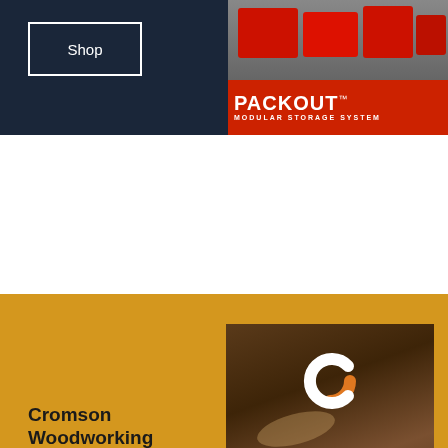[Figure (screenshot): Top dark navy banner with a white-bordered Shop button on the left and a Milwaukee PACKOUT Modular Storage System advertisement on the right with red storage boxes]
[Figure (screenshot): Bottom golden/yellow banner for Cromson Woodworking with logo image on right showing wooden background with Cromson logo (C with orange accent), text CROMSON BOIS | WOODWORKING, and on the left: bold title Cromson Woodworking, divider line, text Enjoy the discounts now!, and a Shop button]